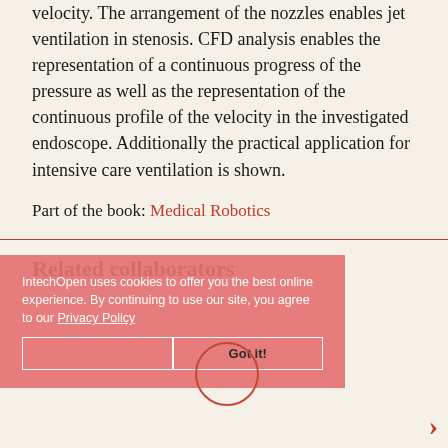velocity. The arrangement of the nozzles enables jet ventilation in stenosis. CFD analysis enables the representation of a continuous progress of the pressure as well as the representation of the continuous profile of the velocity in the investigated endoscope. Additionally the practical application for intensive care ventilation is shown.
Part of the book: Medical Robotics
Related collaborators
IntechOpen uses cookies to offer you the best online experience. By continuing to use our site, you agree to our Privacy Policy